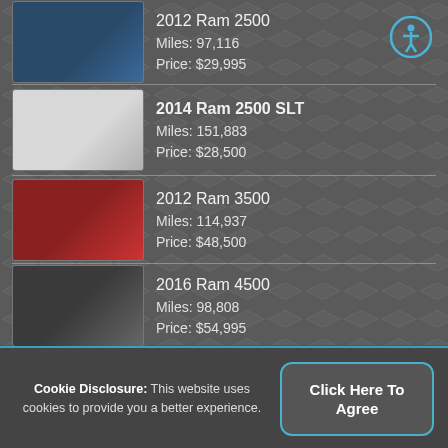2012 Ram 2500
Miles: 97,116
Price: $29,995
2014 Ram 2500 SLT
Miles: 151,883
Price: $28,500
2012 Ram 3500
Miles: 114,937
Price: $48,500
2016 Ram 4500
Miles: 98,808
Price: $54,995
Cookie Disclosure: This website uses cookies to provide you a better experience.
Click Here To Agree